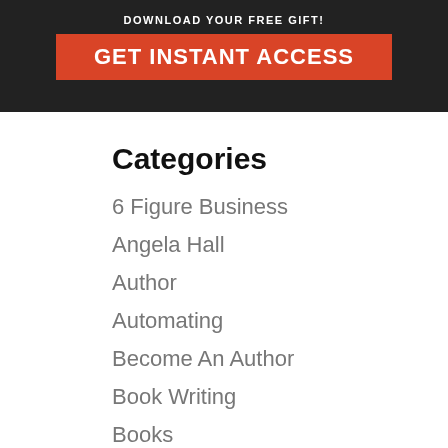[Figure (screenshot): Banner advertisement with dark background showing a person in black, with text 'DOWNLOAD YOUR FREE GIFT!' and a red button saying 'GET INSTANT ACCESS']
Categories
6 Figure Business
Angela Hall
Author
Automating
Become An Author
Book Writing
Books
Business & Money
Business Networking
Business Plans